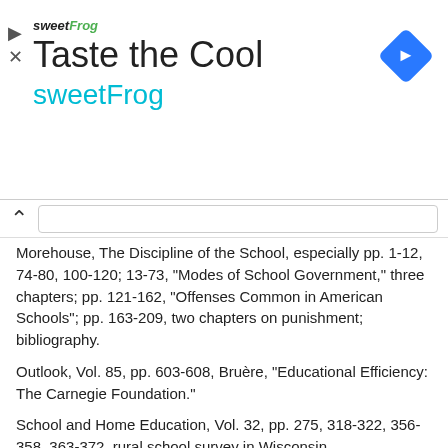[Figure (other): Advertisement banner for sweetFrog with logo, 'Taste the Cool' heading, 'sweetFrog' subtitle in cyan, and a blue diamond directional icon on the right.]
Morehouse, The Discipline of the School, especially pp. 1-12, 74-80, 100-120; 13-73, "Modes of School Government," three chapters; pp. 121-162, "Offenses Common in American Schools"; pp. 163-209, two chapters on punishment; bibliography.
Outlook, Vol. 85, pp. 603-608, Bruère, "Educational Efficiency: The Carnegie Foundation."
School and Home Education, Vol. 32, pp. 275, 318-322, 356-358, 363-372, rural school survey in Wisconsin.
Scott, Social Education, pp. 7-33, 43-57, 58-77, 94-101, 102-169.
Snedden and Allen, School Reports and School Efficiency.
Survey, Vol. 35, pp. 349-351, 354-361, 602-607, 610, 613, 614, survey of the University of Wisconsin.
School and Society, Vol. 4, pp. 551-556, Burns, "Cleveland Education